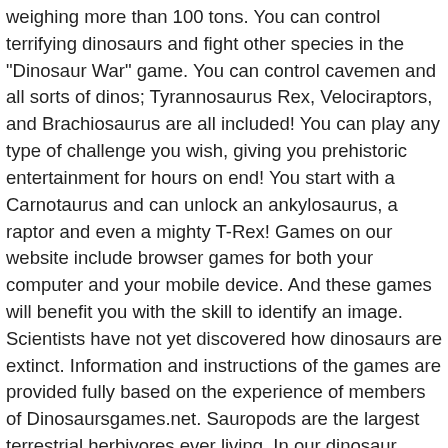weighing more than 100 tons. You can control terrifying dinosaurs and fight other species in the "Dinosaur War" game. You can control cavemen and all sorts of dinos; Tyrannosaurus Rex, Velociraptors, and Brachiosaurus are all included! You can play any type of challenge you wish, giving you prehistoric entertainment for hours on end! You start with a Carnotaurus and can unlock an ankylosaurus, a raptor and even a mighty T-Rex! Games on our website include browser games for both your computer and your mobile device. And these games will benefit you with the skill to identify an image. Scientists have not yet discovered how dinosaurs are extinct. Information and instructions of the games are provided fully based on the experience of members of Dinosaursgames.net. Sauropods are the largest terrestrial herbivores ever living. In our dinosaur games, you can control 1000+ kg creatures with a simple click of the mouse. T-Rex Dinosaur - a replica of the hidden game from Chrome offline mode. They are one of the largest creatures that have existed on our earth. Scientists have studied that dinosaurs lived from about 245 to 65.5 million years ago during the Mesozoic